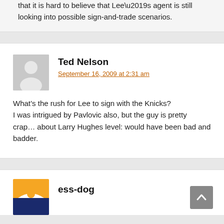that it is hard to believe that Lee’s agent is still looking into possible sign-and-trade scenarios.
Ted Nelson
September 16, 2009 at 2:31 am
What’s the rush for Lee to sign with the Knicks?
I was intrigued by Pavlovic also, but the guy is pretty crap… about Larry Hughes level: would have been bad and badder.
ess-dog